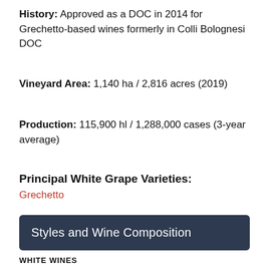History: Approved as a DOC in 2014 for Grechetto-based wines formerly in Colli Bolognesi DOC
Vineyard Area: 1,140 ha / 2,816 acres (2019)
Production: 115,900 hl / 1,288,000 cases (3-year average)
Principal White Grape Varieties: Grechetto
Styles and Wine Composition
WHITE WINES